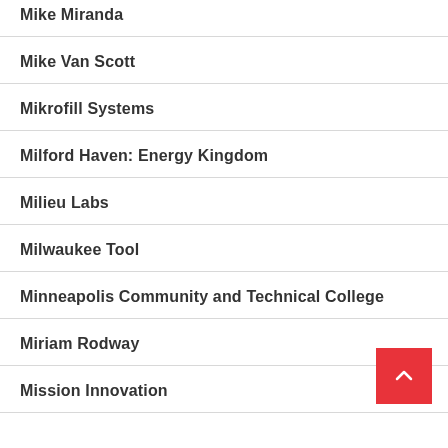Mike Miranda
Mike Van Scott
Mikrofill Systems
Milford Haven: Energy Kingdom
Milieu Labs
Milwaukee Tool
Minneapolis Community and Technical College
Miriam Rodway
Mission Innovation